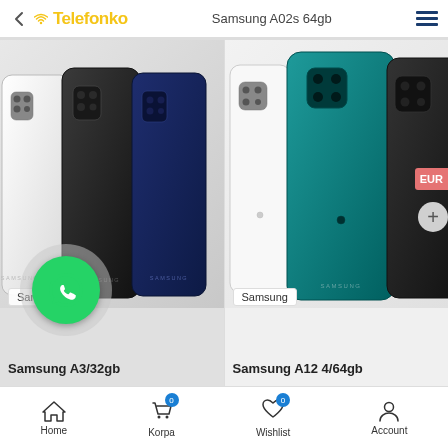Telefonko — Samsung A02s 64gb
[Figure (photo): Samsung A02s product photo showing three phones (white, black, navy blue) from the back]
Samsung
Samsung A3/32gb
[Figure (photo): Samsung A12 product photo showing three phones (white, teal, black) from the back with EUR badge and plus button]
Samsung
Samsung A12 4/64gb
Home  Korpa 0  Wishlist 0  Account